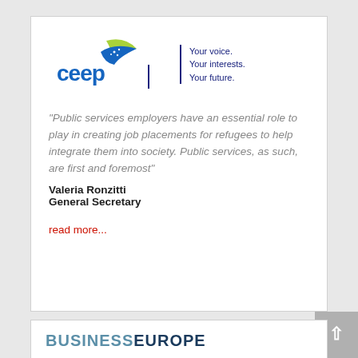[Figure (logo): CEEP logo with blue bird/fish shape and green leaf wing, text 'ceep' in blue, tagline 'Your voice. Your interests. Your future.']
"Public services employers have an essential role to play in creating job placements for refugees to help integrate them into society. Public services, as such, are first and foremost"
Valeria Ronzitti
General Secretary
read more...
[Figure (logo): BUSINESSEUROPE logo in blue tones]